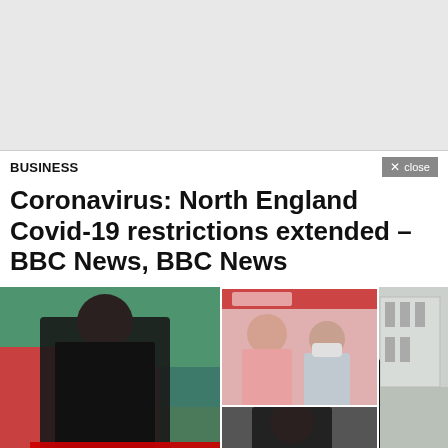[Figure (photo): Gray placeholder/ad banner at top of page]
BUSINESS
Coronavirus: North England Covid-19 restrictions extended – BBC News, BBC News
[Figure (photo): Photo collage showing Kim Jong Un at two separate events; inset photos show officials, one wearing a face mask]